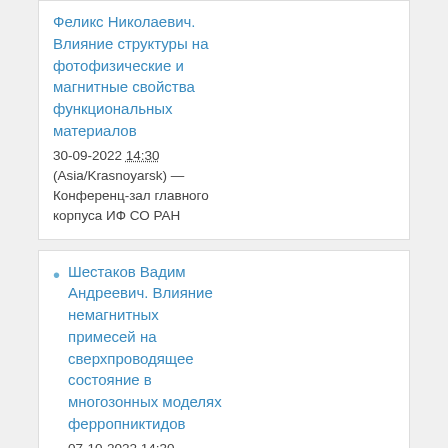Феликс Николаевич. Влияние структуры на фотофизические и магнитные свойства функциональных материалов
30-09-2022 14:30 (Asia/Krasnoyarsk) — Конференц-зал главного корпуса ИФ СО РАН
Шестаков Вадим Андреевич. Влияние немагнитных примесей на сверхпроводящее состояние в многозонных моделях ферропниктидов
07-10-2022 14:30 (Asia/Krasnoyarsk) — Конференц-зал главного корпуса ИФ СО РАН